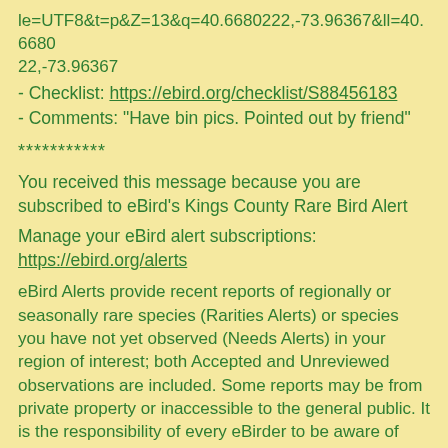le=UTF8&t=p&Z=13&q=40.6680222,-73.96367&ll=40.6680222,-73.96367
- Checklist: https://ebird.org/checklist/S88456183
- Comments: "Have bin pics. Pointed out by friend"
***********
You received this message because you are subscribed to eBird's Kings County Rare Bird Alert
Manage your eBird alert subscriptions:
https://ebird.org/alerts
eBird Alerts provide recent reports of regionally or seasonally rare species (Rarities Alerts) or species you have not yet observed (Needs Alerts) in your region of interest; both Accepted and Unreviewed observations are included. Some reports may be from private property or inaccessible to the general public. It is the responsibility of every eBirder to be aware of and respectful of access restrictions. For more information, see our Terms of Use: https://www.birds.cornell.edu/home/terms-of-use/